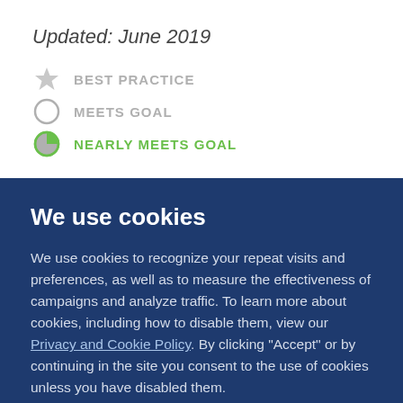Updated: June 2019
BEST PRACTICE
MEETS GOAL
NEARLY MEETS GOAL
We use cookies
We use cookies to recognize your repeat visits and preferences, as well as to measure the effectiveness of campaigns and analyze traffic. To learn more about cookies, including how to disable them, view our Privacy and Cookie Policy. By clicking "Accept" or by continuing in the site you consent to the use of cookies unless you have disabled them.